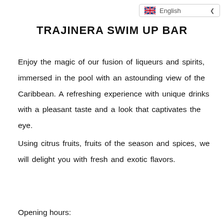English
TRAJINERA SWIM UP BAR
Enjoy the magic of our fusion of liqueurs and spirits, immersed in the pool with an astounding view of the Caribbean. A refreshing experience with unique drinks with a pleasant taste and a look that captivates the eye.
Using citrus fruits, fruits of the season and spices, we will delight you with fresh and exotic flavors.
Opening hours: